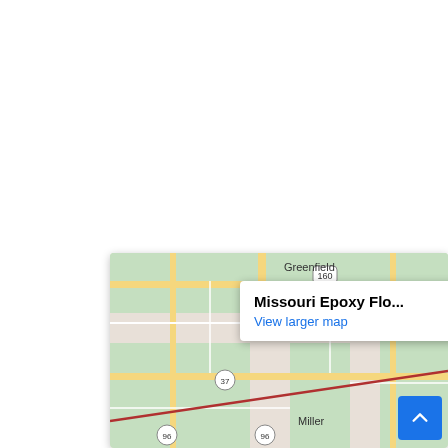[Figure (map): Google Maps embed showing Greenfield, Ash Grove, Miller area in Missouri with route markers for road 160, 37, and 96. A popup shows 'Missouri Epoxy Flo...' with a 'View larger map' link. A blue scroll-to-top button is visible at bottom right.]